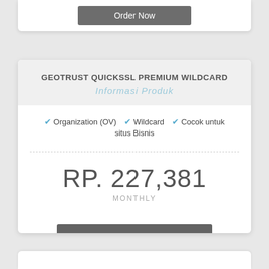GEOTRUST QUICKSSL PREMIUM WILDCARD
Organization (OV)
Wildcard
Cocok untuk situs Bisnis
RP. 227,381
MONTHLY
Order Now